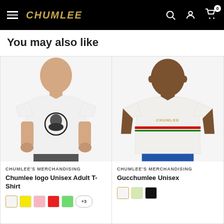CHUMLEE — Navigation bar with hamburger menu, logo, search, account, and cart icons
You may also like
[Figure (photo): Product card showing a man wearing a white Chumlee logo unisex adult t-shirt with a bearded face graphic on the front]
CHUMLEE'S MERCHANDISING
Chumlee logo Unisex Adult T-Shirt
[Figure (photo): Product card (partially visible) showing a man wearing a white Gucchumlee unisex t-shirt with Chumlee branding]
CHUMLEE'S MERCHANDISING
Gucchumlee Unisex